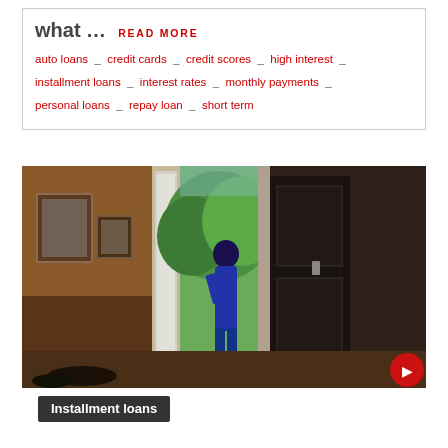what … READ MORE
auto loans _ credit cards _ credit scores _ high interest _ installment loans _ interest rates _ monthly payments _ personal loans _ repay loan _ short term
[Figure (photo): A person standing in a home entryway/foyer looking out through an open front door toward trees outside. The interior is dimly lit with warm orange-brown walls, framed pictures on the wall, and a dark door on the right. The person's silhouette is visible against the bright outdoor light.]
Installment loans